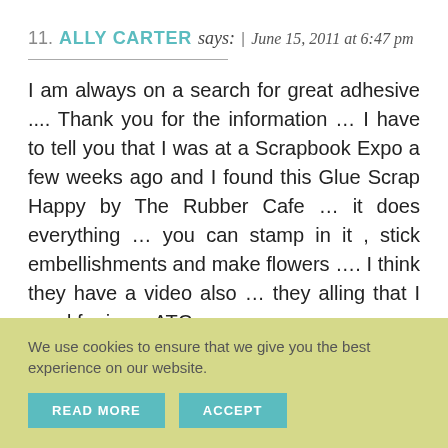11. ALLY CARTER says: | June 15, 2011 at 6:47 pm
I am always on a search for great adhesive .... Thank you for the information … I have to tell you that I was at a Scrapbook Expo a few weeks ago and I found this Glue Scrap Happy by The Rubber Cafe … it does everything … you can stamp in it , stick embellishments and make flowers …. I think they have a video also … they alling that I used for in an ATC
We use cookies to ensure that we give you the best experience on our website.